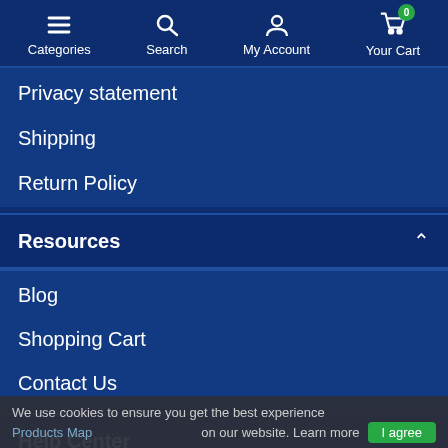Categories | Search | My Account | Your Cart (0)
Privacy statement
Shipping
Return Policy
Resources
Blog
Shopping Cart
Contact Us
Help Center
We use cookies to ensure you get the best experience on our website. Learn more
Products Map